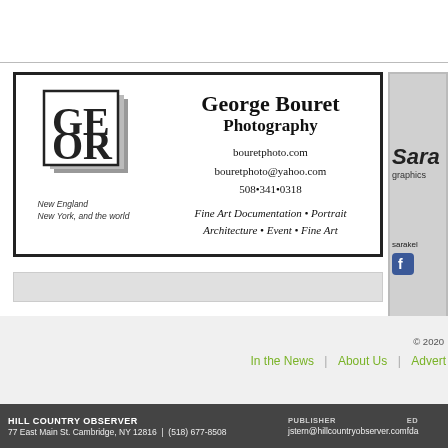[Figure (illustration): George Bouret Photography advertisement with logo (GE/OR in layered squares), contact info: bouretphoto.com, bouretphoto@yahoo.com, 508•341•0318. Services: Fine Art Documentation • Portrait, Architecture • Event • Fine Art. Tagline: New England, New York, and the world.]
[Figure (illustration): Partial view of Sara graphics advertisement with Facebook icon and sarakel... text]
In the News | About Us | Advert... © 2020
HILL COUNTRY OBSERVER 77 East Main St. Cambridge, NY 12816 | (518) 677-8508 | PUBLISHER jstern@hillcountryobserver.com | ED fda...